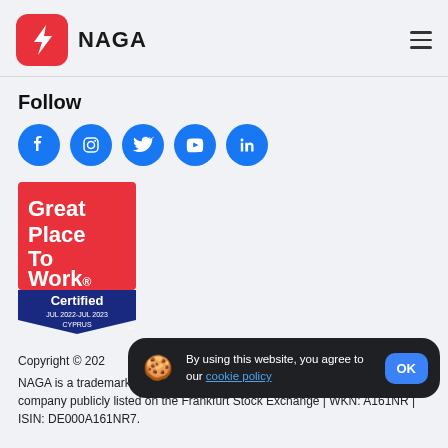NAGA
Follow
[Figure (logo): NAGA logo with red rounded square icon and lightning bolt, text NAGA beside it]
[Figure (illustration): Social media icons: Facebook, Instagram, Twitter, YouTube, LinkedIn — blue circles with white icons]
[Figure (logo): Great Place To Work Certified badge — red top with white text 'Great Place To Work.' and blue bottom with white text 'Certified JUL 2022-JUL 2023 CYPRUS']
Copyright © 202
NAGA is a trademark of The NAGA Group AG, a German based FinTech company publicly listed on the Frankfurt Stock Exchange | WKN: A161NR | ISIN: DE000A161NR7.
By using this website, you agree to our cookie policy